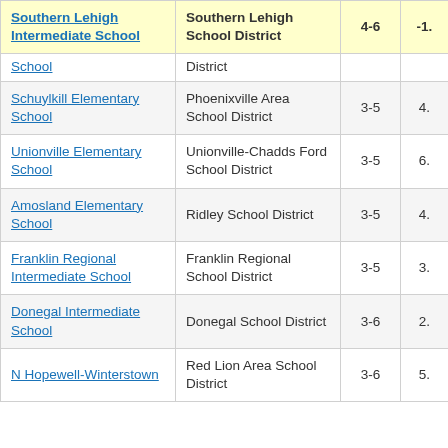| School | District | Grades | Value |
| --- | --- | --- | --- |
| Southern Lehigh Intermediate School | Southern Lehigh School District | 4-6 | -1. |
| School (partial) | District |  |  |
| Schuylkill Elementary School | Phoenixville Area School District | 3-5 | 4. |
| Unionville Elementary School | Unionville-Chadds Ford School District | 3-5 | 6. |
| Amosland Elementary School | Ridley School District | 3-5 | 4. |
| Franklin Regional Intermediate School | Franklin Regional School District | 3-5 | 3. |
| Donegal Intermediate School | Donegal School District | 3-6 | 2. |
| N Hopewell-Winterstown | Red Lion Area School District | 3-6 | 5. |